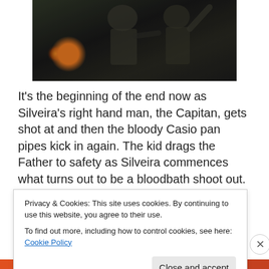[Figure (photo): Two men fighting or struggling outdoors, dark background with what appears to be fire or torchlight visible on the left side.]
It's the beginning of the end now as Silveira's right hand man, the Capitan, gets shot at and then the bloody Casio pan pipes kick in again.  The kid drags the Father to safety as Silveira commences what turns out to be a bloodbath shoot out.  This is the best bit of the film really but it's all over in a flash
Privacy & Cookies: This site uses cookies. By continuing to use this website, you agree to their use.
To find out more, including how to control cookies, see here: Cookie Policy
Close and accept